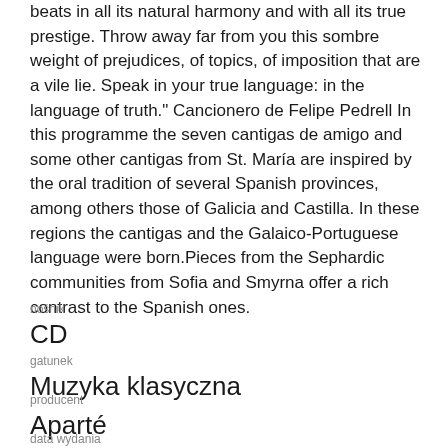beats in all its natural harmony and with all its true prestige. Throw away far from you this sombre weight of prejudices, of topics, of imposition that are a vile lie. Speak in your true language: in the language of truth." Cancionero de Felipe Pedrell In this programme the seven cantigas de amigo and some other cantigas from St. María are inspired by the oral tradition of several Spanish provinces, among others those of Galicia and Castilla. In these regions the cantigas and the Galaico-Portuguese language were born.Pieces from the Sephardic communities from Sofia and Smyrna offer a rich contrast to the Spanish ones.
nośnik
CD
gatunek
Muzyka klasyczna
producent
Aparté
data wydania